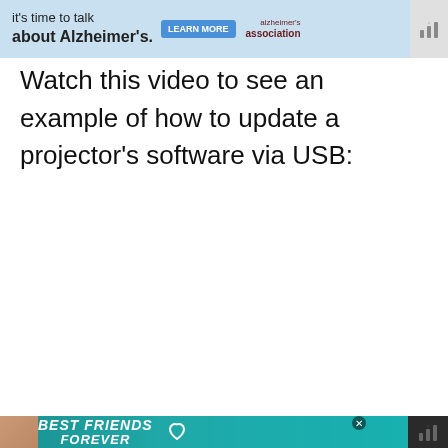[Figure (screenshot): Advertisement banner for Alzheimer's Association with text 'it's time to talk about Alzheimer's.' and a LEARN MORE button]
Watch this video to see an example of how to update a projector's software via USB:
[Figure (screenshot): Embedded YouTube video thumbnail showing a projector device and a screen with media thumbnails. Title: 'How to update the software for a ...' Video Tutorial Support channel. Side controls show heart icon, share icon, count 4, and a What's Next panel showing '(9 Fixes) Disney Plus...']
[Figure (screenshot): Advertisement banner at the bottom with a cat image and text 'BEST FRIENDS FOREVER' on a teal background]